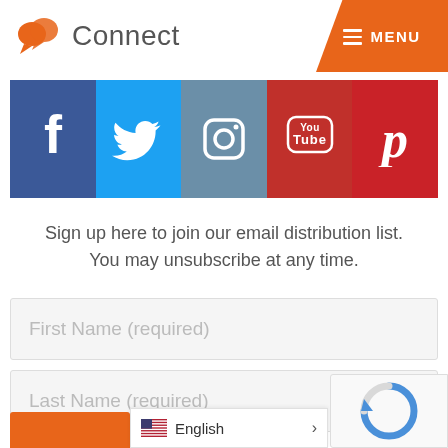Connect  MENU
[Figure (infographic): Social media icon bar with Facebook, Twitter, Instagram, YouTube, Pinterest icons]
Sign up here to join our email distribution list. You may unsubscribe at any time.
First Name (required)
Last Name (required)
Email (required)
English